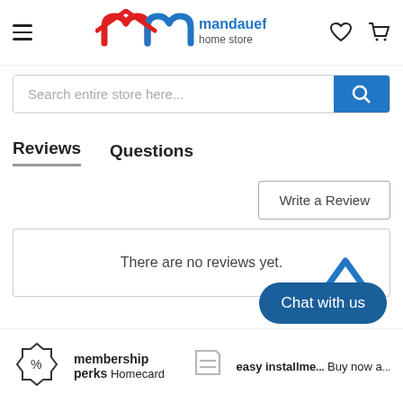[Figure (logo): Mandaue Foam home store logo with hamburger menu, heart icon, and cart icon in the header]
Search entire store here...
Reviews
Questions
Write a Review
There are no reviews yet.
Chat with us
membership perks
Homecard
easy installme...
Buy now a...